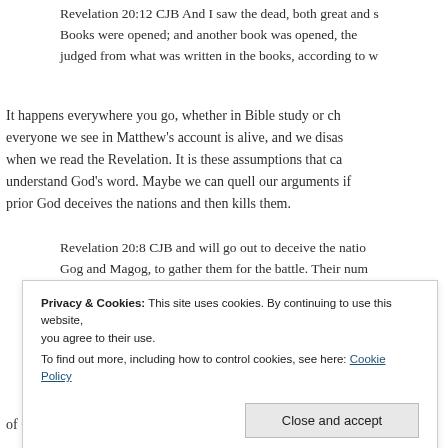Revelation 20:12 CJB And I saw the dead, both great and s… Books were opened; and another book was opened, the… judged from what was written in the books, according to w…
It happens everywhere you go, whether in Bible study or ch… everyone we see in Matthew's account is alive, and we disas… when we read the Revelation. It is these assumptions that ca… understand God's word. Maybe we can quell our arguments if… prior God deceives the nations and then kills them.
Revelation 20:8 CJB and will go out to deceive the natio… Gog and Magog, to gather them for the battle. Their num…
Privacy & Cookies: This site uses cookies. By continuing to use this website, you agree to their use.
To find out more, including how to control cookies, see here: Cookie Policy
of God's people and the city he loves. But fire came down…